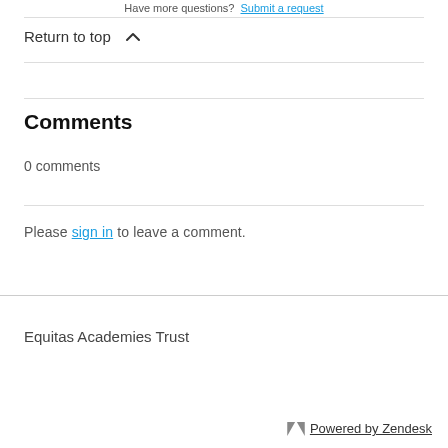Have more questions? Submit a request
Return to top ∧
Comments
0 comments
Please sign in to leave a comment.
Equitas Academies Trust
Powered by Zendesk